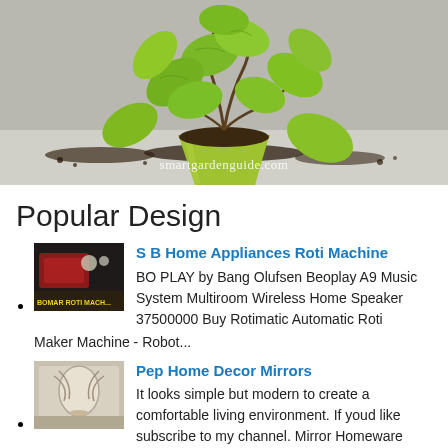[Figure (photo): Photo of a pothos/syngonium plant in a lime green pot with soil spilled on a white surface. Watermark reads 'smartgardenguide.com']
Popular Design
S B Home Appliances Roti Machine — BO PLAY by Bang Olufsen Beoplay A9 Music System Multiroom Wireless Home Speaker 37500000 Buy Rotimatic Automatic Roti Maker Machine - Robot...
Pep Home Decor Mirrors — It looks simple but modern to create a comfortable living environment. If youd like subscribe to my channel. Mirror Homeware Pop...